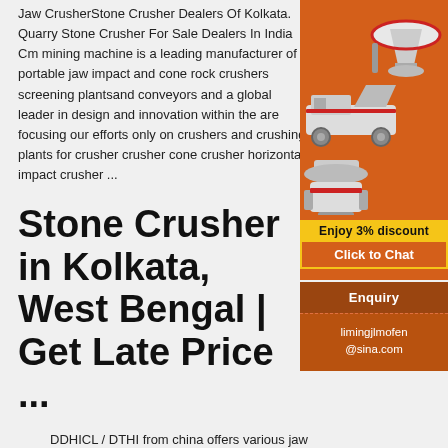Jaw CrusherStone Crusher Dealers Of Kolkata. Quarry Stone Crusher For Sale Dealers In India Cm mining machine is a leading manufacturer of portable jaw impact and cone rock crushers screening plantsand conveyors and a global leader in design and innovation within the are focusing our efforts only on crushers and crushing plants for crusher crusher cone crusher horizontal impact crusher ...
Stone Crusher in Kolkata, West Bengal | Get Late Price ...
[Figure (illustration): Orange advertisement banner showing industrial stone crusher machinery with text 'Enjoy 3% discount' and 'Click to Chat' button]
Enquiry
limingjlmofen@sina.com
DDHICL / DTHI from china offers various jaw crushers for Mining, Metal Processing and Industries. Our crushers include Hammer crushers, crusher, Gyratory crushers / Energy efficient jaw crushers, spring cone crushers, hydraulic cone